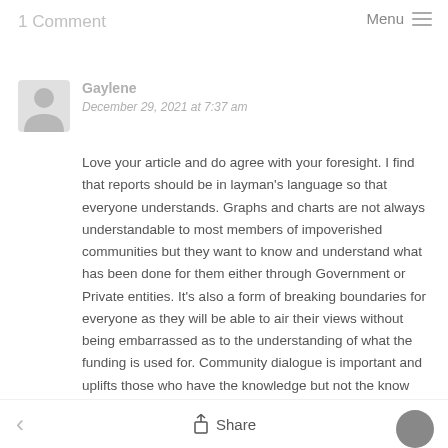1 Comment
Gaylene
December 29, 2021 at 7:37 am
Love your article and do agree with your foresight. I find that reports should be in layman's language so that everyone understands. Graphs and charts are not always understandable to most members of impoverished communities but they want to know and understand what has been done for them either through Government or Private entities. It's also a form of breaking boundaries for everyone as they will be able to air their views without being embarrassed as to the understanding of what the funding is used for. Community dialogue is important and uplifts those who have the knowledge but not the know how of using it. Keep it simple is the best for everyone. An
< Share >